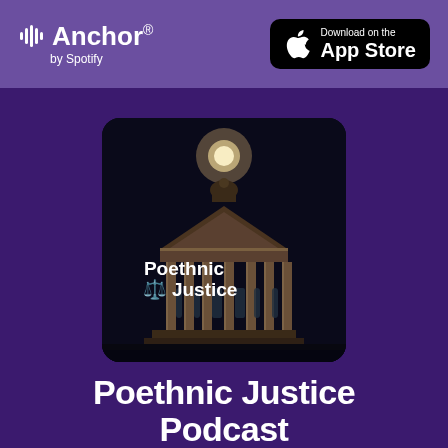[Figure (logo): Anchor by Spotify logo in white on purple background]
[Figure (logo): Download on the App Store button, black rounded rectangle with Apple logo]
[Figure (photo): Podcast cover art showing a government/court building at night with bright moon above, text 'Poethnic Justice' with scales of justice emoji overlaid in white bold text]
Poethnic Justice Podcast